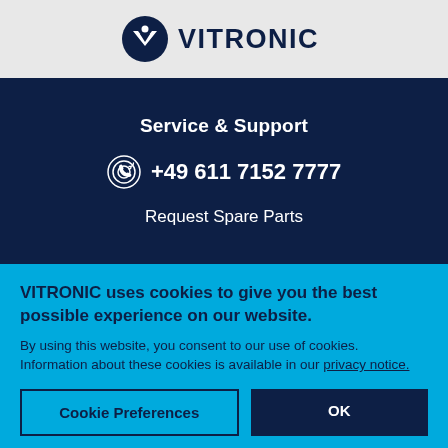[Figure (logo): VITRONIC company logo — navy circle with white V/chevron symbol, followed by VITRONIC text in dark navy bold capitals]
Service & Support
+49 611 7152 7777
Request Spare Parts
VITRONIC uses cookies to give you the best possible experience on our website.
By using this website, you consent to our use of cookies. Information about these cookies is available in our privacy notice.
Cookie Preferences
OK